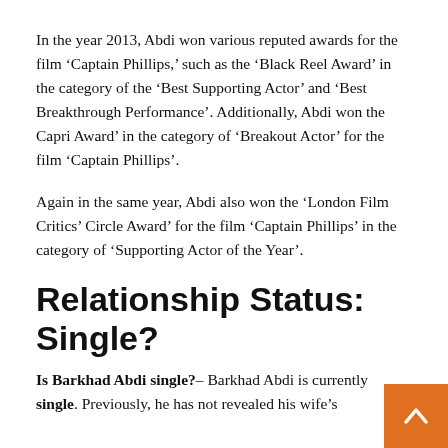In the year 2013, Abdi won various reputed awards for the film ‘Captain Phillips,’ such as the ‘Black Reel Award’ in the category of the ‘Best Supporting Actor’ and ‘Best Breakthrough Performance’. Additionally, Abdi won the Capri Award’ in the category of ‘Breakout Actor’ for the film ‘Captain Phillips’.
Again in the same year, Abdi also won the ‘London Film Critics’ Circle Award’ for the film ‘Captain Phillips’ in the category of ‘Supporting Actor of the Year’.
Relationship Status: Single?
Is Barkhad Abdi single? – Barkhad Abdi is currently single. Previously, he has not revealed his wife’s